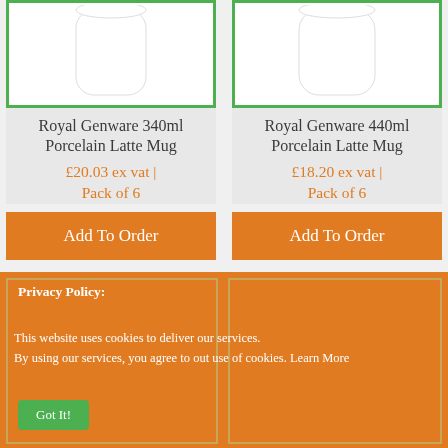[Figure (photo): White porcelain latte mug, Royal Genware 340ml]
Royal Genware 340ml Porcelain Latte Mug
£20.03 ex vat | Pack of 6
Add To Order
[Figure (photo): White porcelain latte mug, Royal Genware 440ml]
Royal Genware 440ml Porcelain Latte Mug
£18.20 ex vat | Pack of 6
Add To Order
Privacy Policy:
This website uses cookies to deliver our services.
By using our services, you agree to out use of cookies. Learn More
Got It!